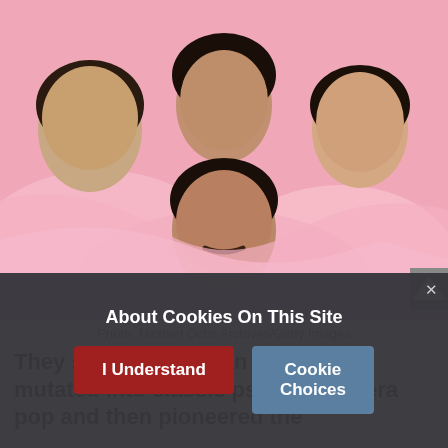[Figure (photo): Four members of Pink Floyd draped in pink fabric, posed together against a pink background. Photo by Michael Ochs Archives/Getty Images.]
Photo: Michael Ochs Archives/Getty Images
They started out as an R&B group, mutated into classic psychedelic-era pop and then pioneered the
About Cookies On This Site
I Understand
Cookie Choices